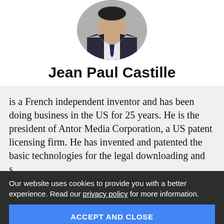[Figure (photo): Circular portrait photo of a man in a dark suit with a navy tie, white shirt, cropped at the top]
Jean Paul Castille
is a French independent inventor and has been doing business in the US for 25 years. He is the president of Antor Media Corporation, a US patent licensing firm. He has invented and patented the basic technologies for the legal downloading and streaming of audio/video content over the Internet and telecommunication networks
Our website uses cookies to provide you with a better experience. Read our privacy policy for more information.
ACCEPT AND CLOSE